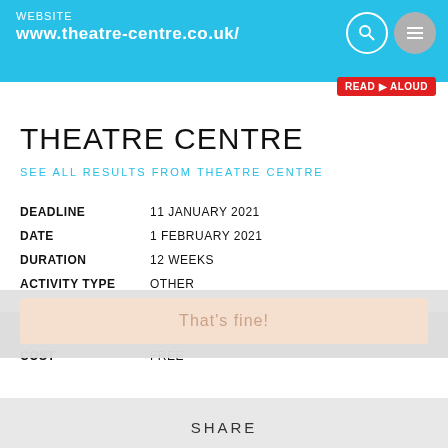WEBSITE www.theatre-centre.co.uk/
THEATRE CENTRE
SEE ALL RESULTS FROM THEATRE CENTRE
| Field | Value |
| --- | --- |
| DEADLINE | 11 JANUARY 2021 |
| DATE | 1 FEBRUARY 2021 |
| DURATION | 12 WEEKS |
| ACTIVITY TYPE | OTHER |
| AGE RANGE | 18 – 25 YR OLDS |
| LOCATION | LONDON |
| COST | FREE |
This website uses cookies. Learn more
That's fine!
SHARE